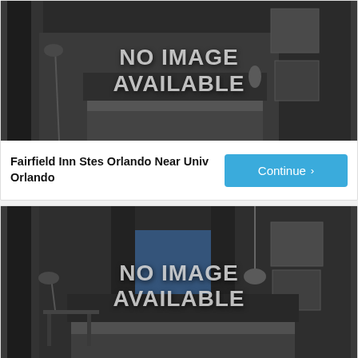[Figure (photo): Hotel room background image with NO IMAGE AVAILABLE text overlay - Fairfield Inn Stes Orlando Near Univ Orlando]
Fairfield Inn Stes Orlando Near Univ Orlando
Continue
[Figure (photo): Hotel room background image with NO IMAGE AVAILABLE text overlay - Sonesta Es Suites Orlando]
Sonesta Es Suites Orlando
Continue